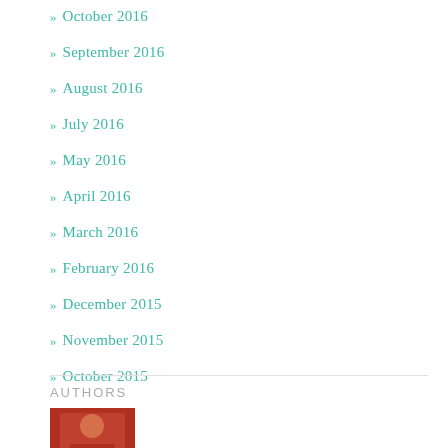» October 2016
» September 2016
» August 2016
» July 2016
» May 2016
» April 2016
» March 2016
» February 2016
» December 2015
» November 2015
» October 2015
AUTHORS
[Figure (photo): Small thumbnail photo of an author, appears to show a person in red]